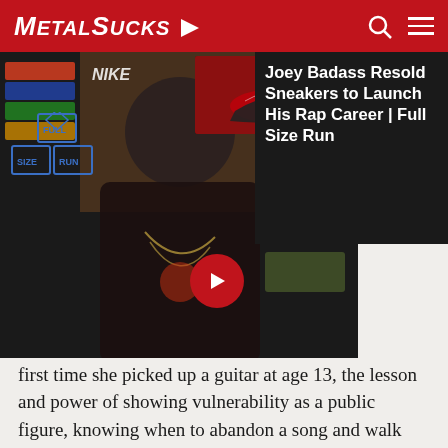MetalSucks
[Figure (screenshot): Video overlay showing a man in a black t-shirt with chain necklaces, shoe boxes in background, Nike logo visible, Full Size Run logo bottom-left, red sneaker thumbnail top-right with X close button, red play/next arrow button center. Right panel dark background with title 'Joey Badass Resold Sneakers to Launch His Rap Career | Full Size Run']
first time she picked up a guitar at age 13, the lesson and power of showing vulnerability as a public figure, knowing when to abandon a song and walk away, the passing of Jill Janus (Huntress) and some experiences Nita had with her both as a friend and in their band The Starbreakers.
Petar, Brandon, and Jozalyn discuss the whirlwind of Threatin that occurred last week on MetalSucks, the